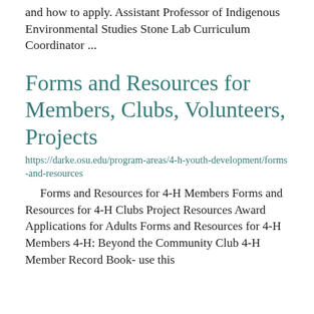and how to apply.  Assistant Professor of Indigenous Environmental Studies Stone Lab Curriculum Coordinator  ...
Forms and Resources for Members, Clubs, Volunteers, Projects
https://darke.osu.edu/program-areas/4-h-youth-development/forms-and-resources
Forms and Resources for 4-H Members Forms and Resources for 4-H Clubs Project Resources Award Applications for Adults Forms and Resources for 4-H Members 4-H: Beyond the Community Club 4-H Member Record Book- use this